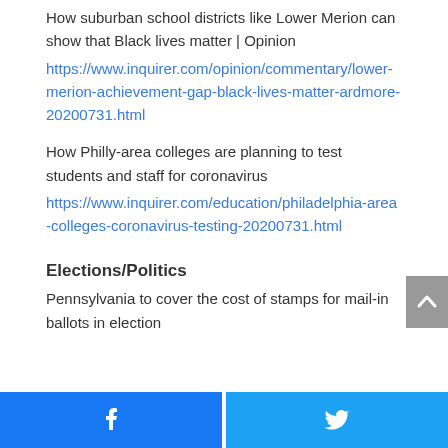How suburban school districts like Lower Merion can show that Black lives matter | Opinion
https://www.inquirer.com/opinion/commentary/lower-merion-achievement-gap-black-lives-matter-ardmore-20200731.html
How Philly-area colleges are planning to test students and staff for coronavirus
https://www.inquirer.com/education/philadelphia-area-colleges-coronavirus-testing-20200731.html
Elections/Politics
Pennsylvania to cover the cost of stamps for mail-in ballots in election